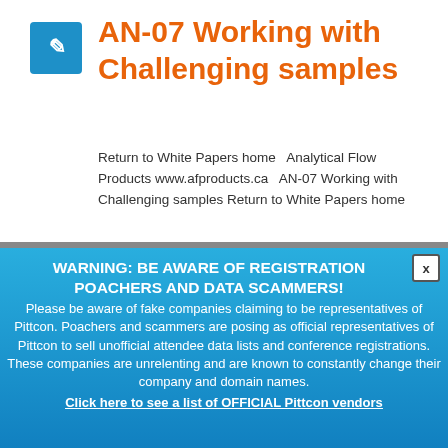AN-07 Working with Challenging samples
Return to White Papers home   Analytical Flow Products www.afproducts.ca   AN-07 Working with Challenging samples Return to White Papers home
WARNING: BE AWARE OF REGISTRATION POACHERS AND DATA SCAMMERS! Please be aware of fake companies claiming to be representatives of Pittcon. Poachers and scammers are posing as official representatives of Pittcon to sell unofficial attendee data lists and conference registrations. These companies are unrelenting and are known to constantly change their company and domain names. Click here to see a list of OFFICIAL Pittcon vendors